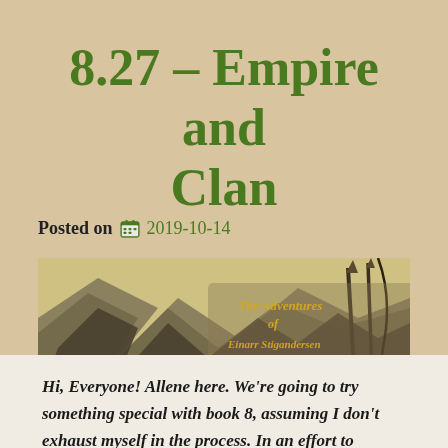8.27 – Empire and Clan
Posted on 📅 2019-10-14
[Figure (illustration): Banner image for 'The Adventures of Einarr Stigandersen' showing a mountainous landscape with a runic or Viking-style spear/weapon and stylized text overlay in gold/yellow lettering.]
Hi, Everyone! Allene here. We're going to try something special with book 8, assuming I don't exhaust myself in the process. In an effort to